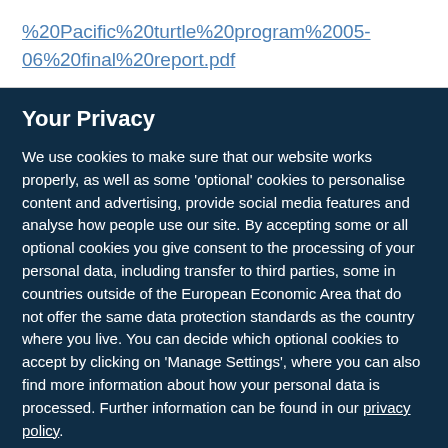%20Pacific%20turtle%20program%2005-06%20final%20report.pdf
Your Privacy
We use cookies to make sure that our website works properly, as well as some 'optional' cookies to personalise content and advertising, provide social media features and analyse how people use our site. By accepting some or all optional cookies you give consent to the processing of your personal data, including transfer to third parties, some in countries outside of the European Economic Area that do not offer the same data protection standards as the country where you live. You can decide which optional cookies to accept by clicking on 'Manage Settings', where you can also find more information about how your personal data is processed. Further information can be found in our privacy policy.
Accept all cookies
Manage preferences